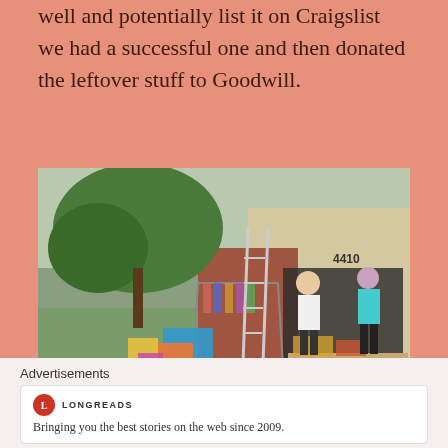well and potentially list it on Craigslist we had a successful one and then donated the leftover stuff to Goodwill.
[Figure (photo): Outdoor garage sale in front of a brick house numbered 4410. Tables display various items including bags, toys, and household goods. Clothing hangs on a rack. A man and woman are visible browsing the sale items. Large trees in background.]
Advertisements
[Figure (logo): Longreads logo — red circle with L, followed by LONGREADS text in small caps]
Bringing you the best stories on the web since 2009.